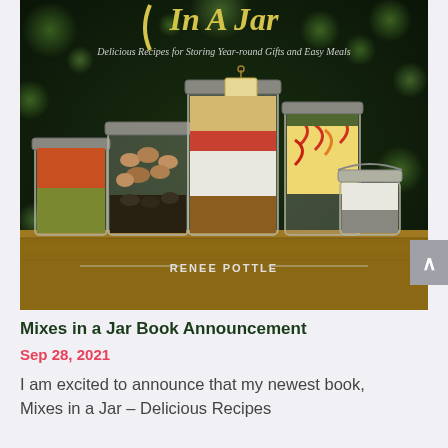[Figure (photo): Book cover of 'Mixes In A Jar – Delicious Recipes for Storing Year-round Gifts and Easy Meals' by Renee Pottle. The cover shows multiple mason jars filled with dry ingredients like lentils, beans, pasta, spices, and grains, arranged on a wooden surface with a dark bokeh green background.]
Mixes in a Jar Book Announcement
Sep 28, 2021
I am excited to announce that my newest book, Mixes in a Jar – Delicious Recipes